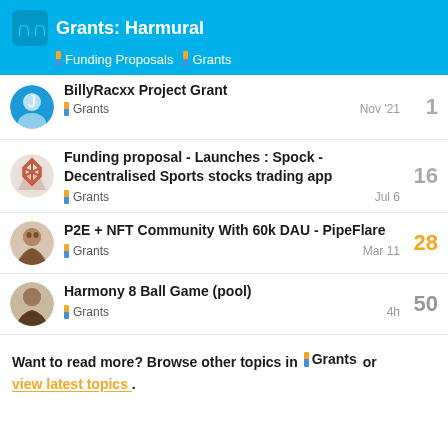Grants: Harmural | Funding Proposals | Grants
BillyRacxx Project Grant | Grants | Nov '21 | 1
Funding proposal - Launches : Spock - Decentralised Sports stocks trading app | Grants | Jul 6 | 16
P2E + NFT Community With 60k DAU - PipeFlare | Grants | Mar 11 | 28
Harmony 8 Ball Game (pool) | Grants | 4h | 50
Want to read more? Browse other topics in Grants or view latest topics.